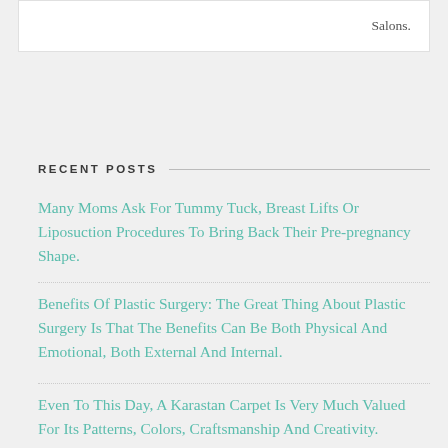Salons.
RECENT POSTS
Many Moms Ask For Tummy Tuck, Breast Lifts Or Liposuction Procedures To Bring Back Their Pre-pregnancy Shape.
Benefits Of Plastic Surgery: The Great Thing About Plastic Surgery Is That The Benefits Can Be Both Physical And Emotional, Both External And Internal.
Even To This Day, A Karastan Carpet Is Very Much Valued For Its Patterns, Colors, Craftsmanship And Creativity.